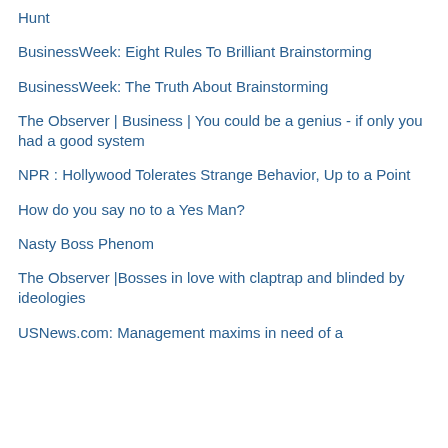Hunt
BusinessWeek: Eight Rules To Brilliant Brainstorming
BusinessWeek: The Truth About Brainstorming
The Observer | Business | You could be a genius - if only you had a good system
NPR : Hollywood Tolerates Strange Behavior, Up to a Point
How do you say no to a Yes Man?
Nasty Boss Phenom
The Observer |Bosses in love with claptrap and blinded by ideologies
USNews.com: Management maxims in need of a